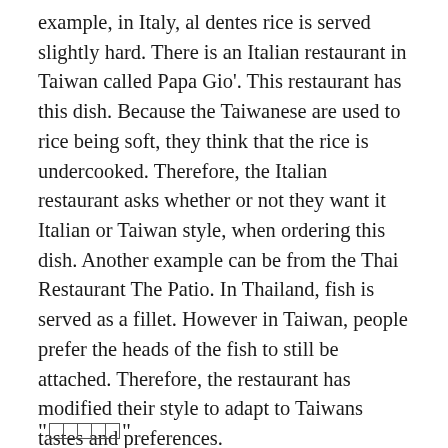example, in Italy, al dentes rice is served slightly hard. There is an Italian restaurant in Taiwan called Papa Gio'. This restaurant has this dish. Because the Taiwanese are used to rice being soft, they think that the rice is undercooked. Therefore, the Italian restaurant asks whether or not they want it Italian or Taiwan style, when ordering this dish. Another example can be from the Thai Restaurant The Patio. In Thailand, fish is served as a fillet. However in Taiwan, people prefer the heads of the fish to still be attached. Therefore, the restaurant has modified their style to adapt to Taiwans tastes and preferences.